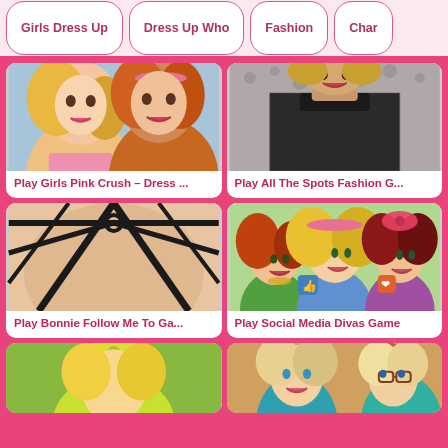Girls Dress Up | Dress Up Who | Fashion | Char...
[Figure (screenshot): Game thumbnail for Girls Pink Crush - Dress Up game showing two stylized cartoon girls with pink and orange hair]
Play Girls Pink Crush – Dress ...
[Figure (screenshot): Game thumbnail for All The Spots Fashion game showing close-up of cartoon character in black lace outfit]
Play All The Spots Fashion G...
[Figure (screenshot): Game thumbnail for Bonnie Follow Me To Game showing close-up of a corset/bralette clothing item]
Play Bonnie Follow Me To Ga...
[Figure (screenshot): Game thumbnail for Social Media Divas Game showing three cartoon girls with social media icons]
Play Social Media Divas Game
[Figure (screenshot): Partial game thumbnail showing cartoon blonde character with yellow ribbon]
[Figure (screenshot): Partial game thumbnail showing two cartoon girls in autumn setting with glasses]